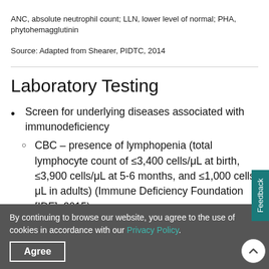ANC, absolute neutrophil count; LLN, lower level of normal; PHA, phytohemagglutinin
Source: Adapted from Shearer, PIDTC, 2014
Laboratory Testing
Screen for underlying diseases associated with immunodeficiency
CBC – presence of lymphopenia (total lymphocyte count of ≤3,400 cells/μL at birth, ≤3,900 cells/μL at 5-6 months, and ≤1,000 cells/μL in adults) (Immune Deficiency Foundation [IDF], 2015)
By continuing to browse our website, you agree to the use of cookies in accordance with our Privacy Policy.